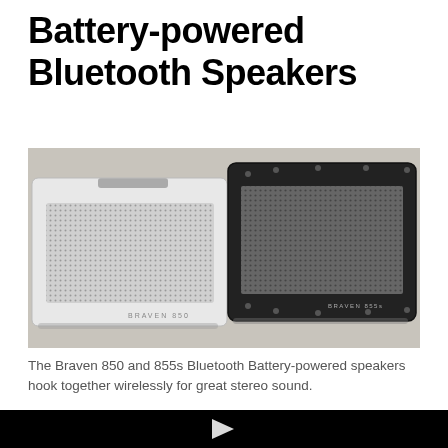Battery-powered Bluetooth Speakers
[Figure (photo): Photo of two Braven Bluetooth battery-powered speakers side by side — a white Braven 850 on the left and a black Braven 855s on the right, both with metal mesh grilles, on a light gray surface.]
The Braven 850 and 855s Bluetooth Battery-powered speakers hook together wirelessly for great stereo sound.
[Figure (screenshot): Black video player area with a white play button triangle in the center.]